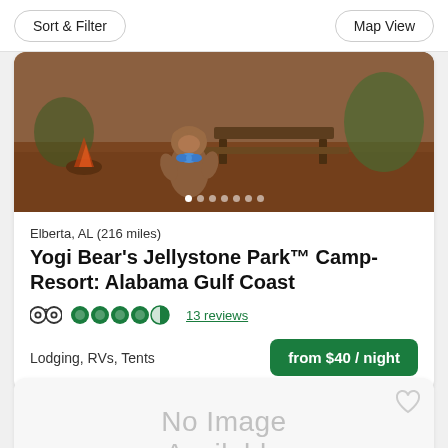Sort & Filter | Map View
[Figure (photo): Photo of a Yogi Bear mascot character in a brown bear costume with blue bow tie, standing near a wooden picnic table outdoors at a campsite with pine needle covered ground.]
Elberta, AL (216 miles)
Yogi Bear's Jellystone Park™ Camp-Resort: Alabama Gulf Coast
4.5 stars · 13 reviews
Lodging, RVs, Tents
from $40 / night
[Figure (photo): No Image Available placeholder card]